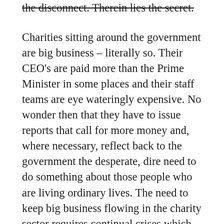the disconnect. Therein lies the secret.
Charities sitting around the government are big business – literally so. Their CEO's are paid more than the Prime Minister in some places and their staff teams are eye wateringly expensive. No wonder then that they have to issue reports that call for more money and, where necessary, reflect back to the government the desperate, dire need to do something about those people who are living ordinary lives. The need to keep big business flowing in the charity sector requires continual crises which need resolving, even though those crises bear little relation to the lives people really live. In the parallel universe where these charities do business, one would be forgiven for thinking that all men are cloaking their emotionally terrorising selves